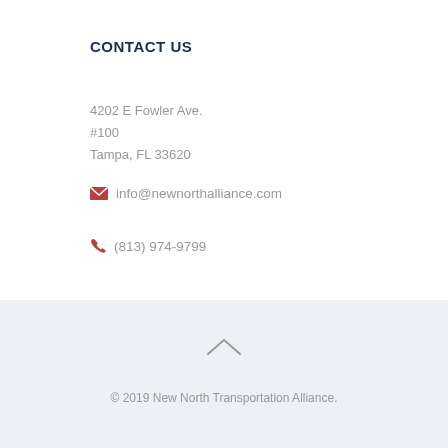CONTACT US
4202 E Fowler Ave.
#100
Tampa, FL 33620
info@newnorthalliance.com
(813) 974-9799
© 2019 New North Transportation Alliance.